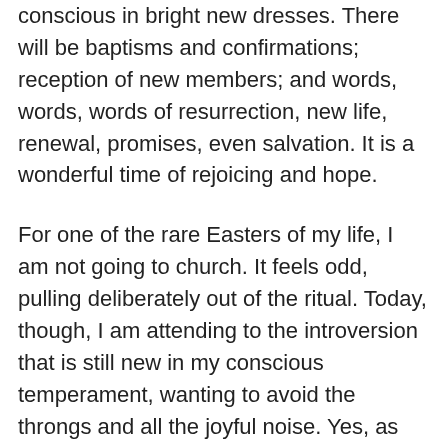conscious in bright new dresses. There will be baptisms and confirmations; reception of new members; and words, words, words of resurrection, new life, renewal, promises, even salvation. It is a wonderful time of rejoicing and hope.
For one of the rare Easters of my life, I am not going to church. It feels odd, pulling deliberately out of the ritual. Today, though, I am attending to the introversion that is still new in my conscious temperament, wanting to avoid the throngs and all the joyful noise. Yes, as soon as it's too late, I will probably regret not being there. But for now, I am simply letting Easter itself fill me. I'm thinking about